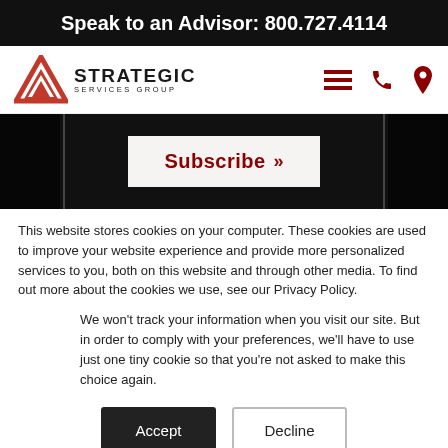Speak to an Advisor: 800.727.4114
[Figure (logo): Strategic Services Group logo with red triangle/mountain icon and text STRATEGIC SERVICES GROUP, alongside navigation icons (hamburger menu, phone, location pin) in dark red]
[Figure (other): Dark hero banner with white Subscribe button containing red text 'Subscribe >>']
This website stores cookies on your computer. These cookies are used to improve your website experience and provide more personalized services to you, both on this website and through other media. To find out more about the cookies we use, see our Privacy Policy.
We won't track your information when you visit our site. But in order to comply with your preferences, we'll have to use just one tiny cookie so that you're not asked to make this choice again.
Accept  Decline